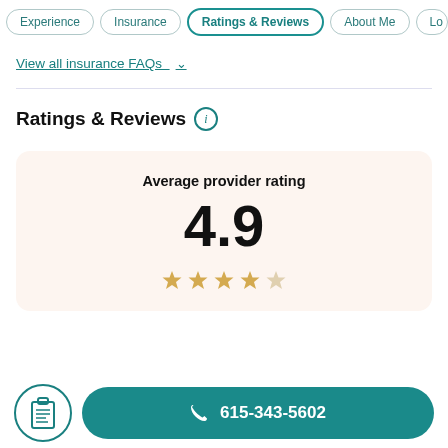Experience | Insurance | Ratings & Reviews | About Me | Lo...
View all insurance FAQs ∨
Ratings & Reviews ⓘ
Average provider rating
4.9
615-343-5602